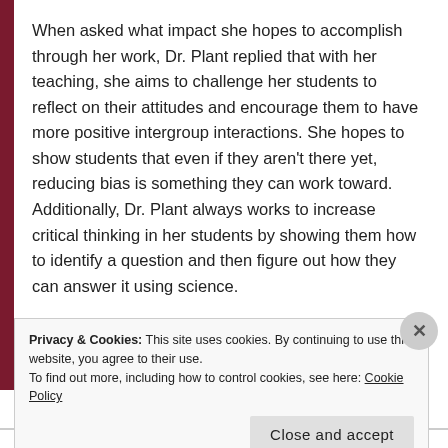When asked what impact she hopes to accomplish through her work, Dr. Plant replied that with her teaching, she aims to challenge her students to reflect on their attitudes and encourage them to have more positive intergroup interactions. She hopes to show students that even if they aren't there yet, reducing bias is something they can work toward. Additionally, Dr. Plant always works to increase critical thinking in her students by showing them how to identify a question and then figure out how they can answer it using science.
Regardless of the positive impacts one makes, no
Privacy & Cookies: This site uses cookies. By continuing to use this website, you agree to their use. To find out more, including how to control cookies, see here: Cookie Policy